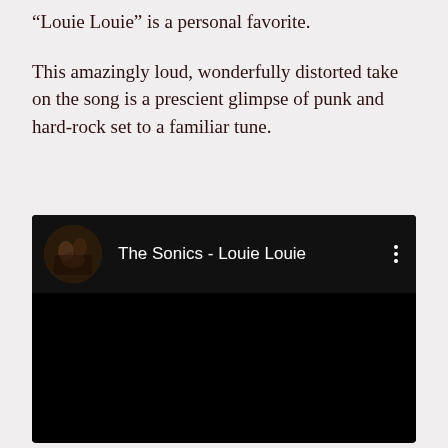“Louie Louie” is a personal favorite.
This amazingly loud, wonderfully distorted take on the song is a prescient glimpse of punk and hard-rock set to a familiar tune.
[Figure (screenshot): A YouTube-style embedded video player with black background. The video header shows a circular thumbnail of a band performing, with the title 'The Sonics - Louie Louie' in white text, and a three-dot menu icon on the right. The main video area is solid black.]